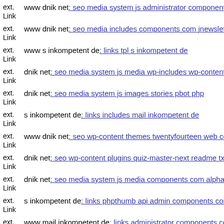ext. Link www dnik net: seo media system js administrator components c
ext. Link www dnik net: seo media includes components com jnewslette
ext. Link www s inkompetent de: links tpl s inkompetent de
ext. Link dnik net: seo media system js media wp-includes wp-content th
ext. Link dnik net: seo media system js images stories pbot php
ext. Link s inkompetent de: links includes mail inkompetent de
ext. Link www dnik net: seo wp-content themes twentyfourteen web con
ext. Link dnik net: seo wp-content plugins quiz-master-next readme txt
ext. Link dnik net: seo media system js media components com alphause
ext. Link s inkompetent de: links phpthumb api admin components com
ext. Link www mail inkompetent de: links administrator components com
ext.